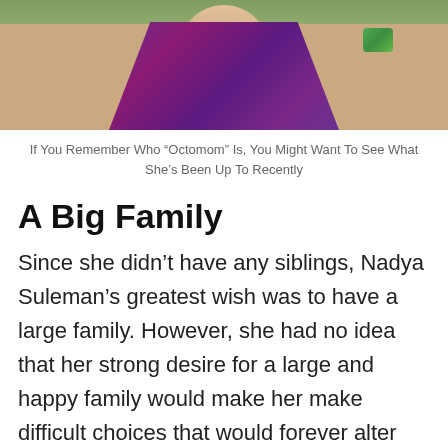[Figure (photo): Cropped photo showing the neck and upper chest/shoulders of a person wearing a purple/dark sparkly garment, with green foliage visible at the top]
If You Remember Who “Octomom” Is, You Might Want To See What She’s Been Up To Recently
A Big Family
Since she didn’t have any siblings, Nadya Suleman’s greatest wish was to have a large family. However, she had no idea that her strong desire for a large and happy family would make her make difficult choices that would forever alter her life. Regardless, it was because of her unwavering